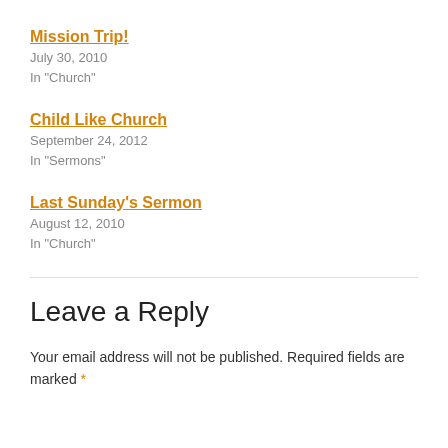Mission Trip!
July 30, 2010
In "Church"
Child Like Church
September 24, 2012
In "Sermons"
Last Sunday's Sermon
August 12, 2010
In "Church"
Leave a Reply
Your email address will not be published. Required fields are marked *